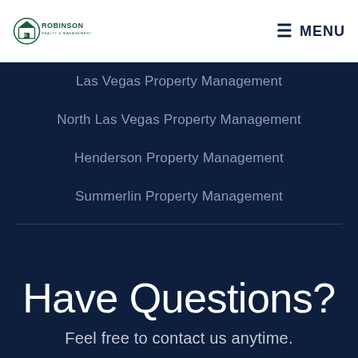Robinson Realty & Management | MENU
Las Vegas Property Management
North Las Vegas Property Management
Henderson Property Management
Summerlin Property Management
Have Questions?
Feel free to contact us anytime.